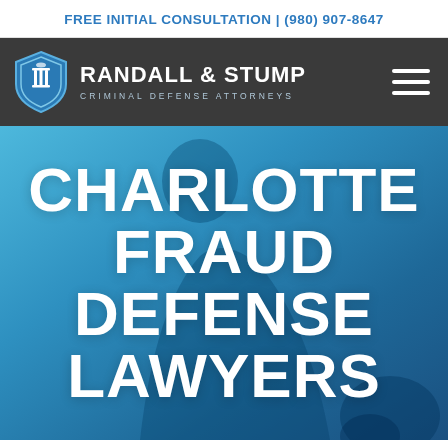FREE INITIAL CONSULTATION | (980) 907-8647
[Figure (logo): Randall & Stump Criminal Defense Attorneys logo with shield icon and firm name]
CHARLOTTE FRAUD DEFENSE LAWYERS